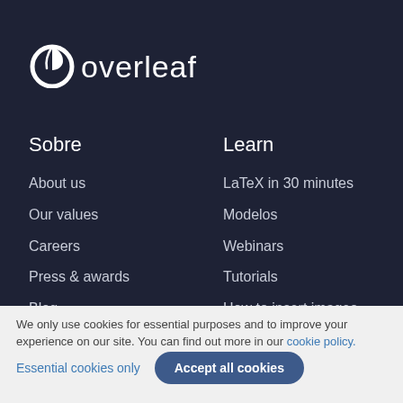[Figure (logo): Overleaf logo — leaf icon with letter O and the word 'overleaf' in white on dark background]
Sobre
Learn
About us
Our values
Careers
Press & awards
Blog
LaTeX in 30 minutes
Modelos
Webinars
Tutorials
How to insert images
How to create tables
We only use cookies for essential purposes and to improve your experience on our site. You can find out more in our cookie policy.
Essential cookies only
Accept all cookies